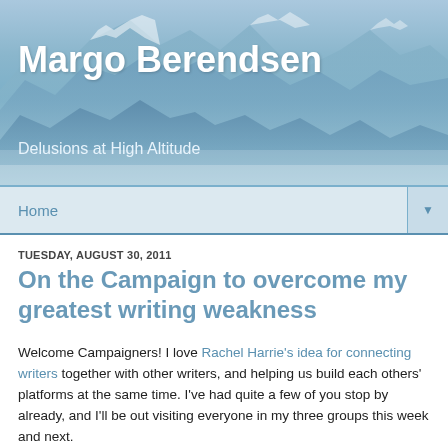[Figure (photo): Blue mountain landscape banner with layered mountain silhouettes in misty blue tones]
Margo Berendsen
Delusions at High Altitude
Home ▼
TUESDAY, AUGUST 30, 2011
On the Campaign to overcome my greatest writing weakness
Welcome Campaigners! I love Rachel Harrie's idea for connecting writers together with other writers, and helping us build each others' platforms at the same time. I've had quite a few of you stop by already, and I'll be out visiting everyone in my three groups this week and next.
Yes, three groups!: YA/MG (all genres), Science Fiction, and Historical. My first novel was an MG fantasy, my second was